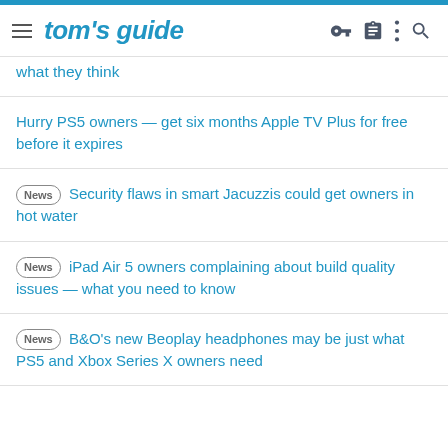tom's guide
what they think
Hurry PS5 owners — get six months Apple TV Plus for free before it expires
News Security flaws in smart Jacuzzis could get owners in hot water
News iPad Air 5 owners complaining about build quality issues — what you need to know
News B&O's new Beoplay headphones may be just what PS5 and Xbox Series X owners need